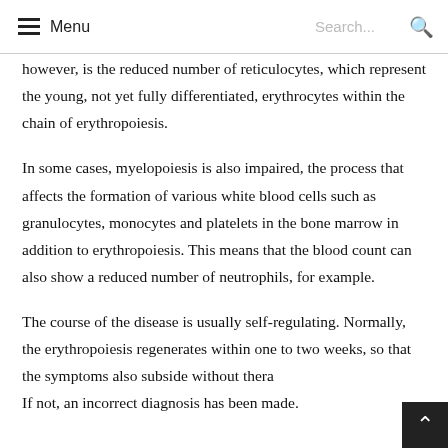Menu  Search...
however, is the reduced number of reticulocytes, which represent the young, not yet fully differentiated, erythrocytes within the chain of erythropoiesis.
In some cases, myelopoiesis is also impaired, the process that affects the formation of various white blood cells such as granulocytes, monocytes and platelets in the bone marrow in addition to erythropoiesis. This means that the blood count can also show a reduced number of neutrophils, for example.
The course of the disease is usually self-regulating. Normally, the erythropoiesis regenerates within one to two weeks, so that the symptoms also subside without thera If not, an incorrect diagnosis has been made.